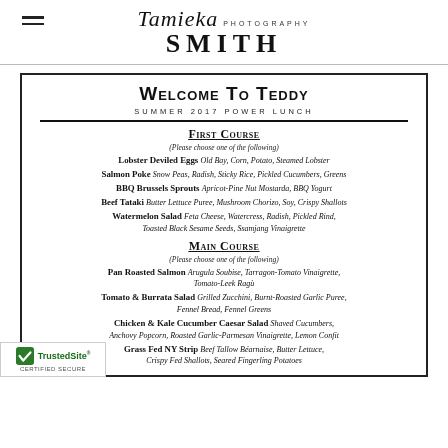Tamieka Photography SMITH
Welcome To Teddy
SUMMER 2017 POWER LUNCH
First Course
(Please choose one of the following)
Lobster Deviled Eggs Old Bay, Corn, Potato, Steamed Lobster
Salmon Poke Snow Peas, Radish, Sticky Rice, Pickled Cucumbers, Greens
BBQ Brussels Sprouts Apricot-Pine Nut Mostarda, BBQ Yogurt
Beef Tataki Butter Lettuce Puree, Mushroom Chorizo, Soy, Crispy Shallots
Watermelon Salad Feta Cheese, Watercress, Radish, Pickled Rind, Toasted Black Sesame Seeds, Ssamjang Vinaigrette
Main Course
(Please choose one of the following)
Pan Roasted Salmon Arugula Soubise, Tarragon-Tomato Vinaigrette, Tomato-Leek Ragù
Tomato & Burrata Salad Grilled Zucchini, Burnt-Roasted Garlic Puree, Fennel Bread, Fennel Greens
Chicken & Kale Cucumber Caesar Salad Shaved Cucumbers, Anchovy Popcorn, Roasted Garlic-Parmesan Vinaigrette, Lemon Confit
Grass Fed NY Strip Beef Tallow Béarnaise, Butter Lettuce, Crispy Fed Shallots, Seared Fingerling Potatoes